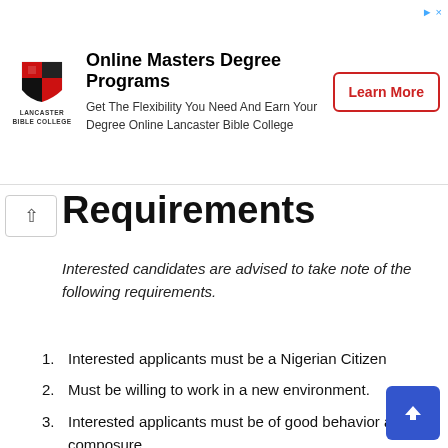[Figure (logo): Lancaster Bible College logo with red and black geometric shield design and college name below]
Online Masters Degree Programs
Get The Flexibility You Need And Earn Your Degree Online Lancaster Bible College
Learn More
Requirements
Interested candidates are advised to take note of the following requirements.
Interested applicants must be a Nigerian Citizen
Must be willing to work in a new environment.
Interested applicants must be of good behavior and composure